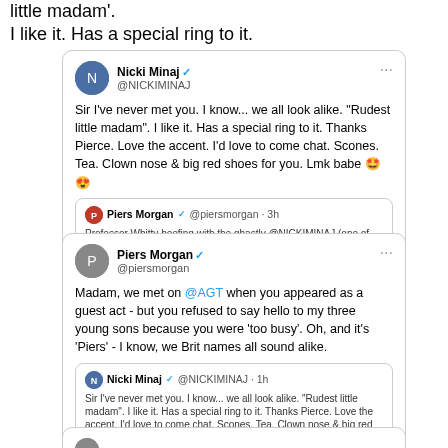little madam'.
I like it. Has a special ring to it.
[Figure (screenshot): Tweet from Nicki Minaj (@NICKIMINAJ): 'Sir I've never met you. I know... we all look alike. "Rudest little madam". I like it. Has a special ring to it. Thanks Pierce. Love the accent. I'd love to come chat. Scones. Tea. Clown nose & big red shoes for you. Lmk babe 🤩😍' with quoted tweet from Piers Morgan. Timestamp: 1:15 PM · Sep 14, 2021 · Twitter for iPhone]
[Figure (screenshot): Tweet from Piers Morgan (@piersmorgan): 'Madam, we met on @AGT when you appeared as a guest act - but you refused to say hello to my three young sons because you were 'too busy'. Oh, and it's 'Piers' - I know, we Brit names all sound alike.' with quoted tweet from Nicki Minaj. Timestamp: 1:22 PM · Sep 14, 2021 · Twitter for iPhone]